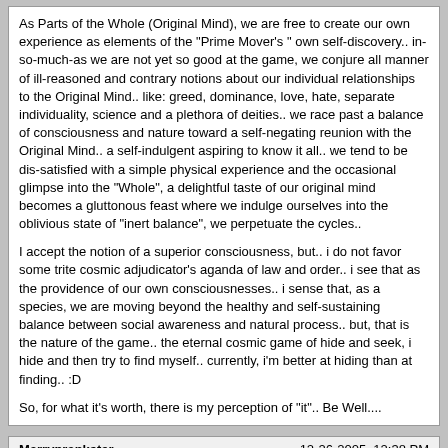As Parts of the Whole (Original Mind), we are free to create our own experience as elements of the "Prime Mover's " own self-discovery.. in-so-much-as we are not yet so good at the game, we conjure all manner of ill-reasoned and contrary notions about our individual relationships to the Original Mind.. like: greed, dominance, love, hate, separate individuality, science and a plethora of deities.. we race past a balance of consciousness and nature toward a self-negating reunion with the Original Mind.. a self-indulgent aspiring to know it all.. we tend to be dis-satisfied with a simple physical experience and the occasional glimpse into the "Whole", a delightful taste of our original mind becomes a gluttonous feast where we indulge ourselves into the oblivious state of "inert balance", we perpetuate the cycles..
I accept the notion of a superior consciousness, but.. i do not favor some trite cosmic adjudicator's aganda of law and order.. i see that as the providence of our own consciousnesses.. i sense that, as a species, we are moving beyond the healthy and self-sustaining balance between social awareness and natural process.. but, that is the nature of the game.. the eternal cosmic game of hide and seek, i hide and then try to find myself.. currently, i'm better at hiding than at finding.. :D
So, for what it's worth, there is my perception of "it".. Be Well....
Merryprankster
12-26-2005, 12:38 PM
Bottom line:
ID doesn't belong in a science classroom. You want to teach it in school, teach it in Philosophy. It's THAT SIMPLE.
We don't have ANY natural evidence to indicate there is an intelligent designer. Even the argument most IDers/creationists like to revert to, "irreducible complexity can't be evolved," has now been shown to be incorrect. Computer "life" that evolves is quite capable of developing irreducibly complex functions through random mutation.
What IDers/creationists do is try to use the whole PROCESS of science...